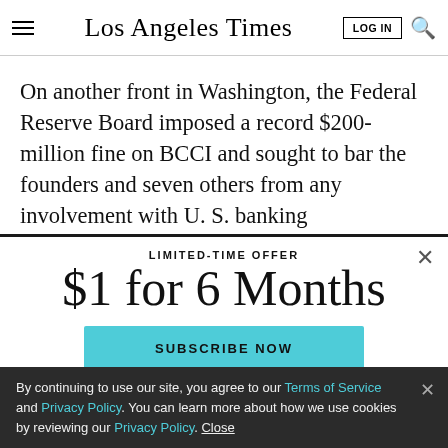Los Angeles Times
On another front in Washington, the Federal Reserve Board imposed a record $200-million fine on BCCI and sought to bar the founders and seven others from any involvement with U. S. banking organizations in the
LIMITED-TIME OFFER
$1 for 6 Months
SUBSCRIBE NOW
By continuing to use our site, you agree to our Terms of Service and Privacy Policy. You can learn more about how we use cookies by reviewing our Privacy Policy. Close